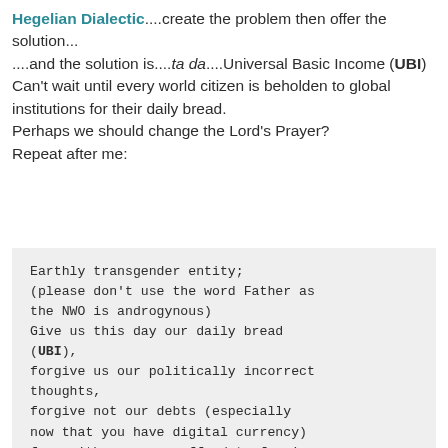Hegelian Dialectic....create the problem then offer the solution...
....and the solution is....ta da....Universal Basic Income (UBI)
Can't wait until every world citizen is beholden to global institutions for their daily bread.
Perhaps we should change the Lord's Prayer?
Repeat after me:
Earthly transgender entity;
(please don't use the word Father as the NWO is androgynous)
Give us this day our daily bread (UBI),
forgive us our politically incorrect thoughts,
forgive not our debts (especially now that you have digital currency)
for neither can we afford to forgive our debtors,